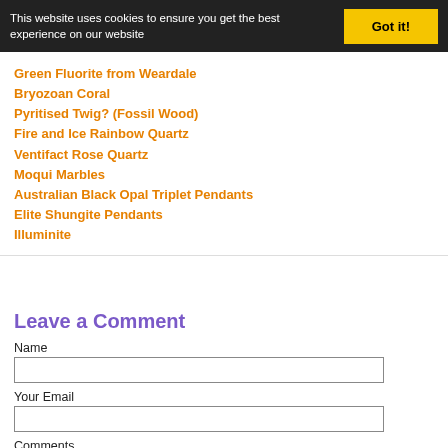This website uses cookies to ensure you get the best experience on our website
Got it!
Green Fluorite from Weardale
Bryozoan Coral
Pyritised Twig? (Fossil Wood)
Fire and Ice Rainbow Quartz
Ventifact Rose Quartz
Moqui Marbles
Australian Black Opal Triplet Pendants
Elite Shungite Pendants
Illuminite
Leave a Comment
Name
Your Email
Comments